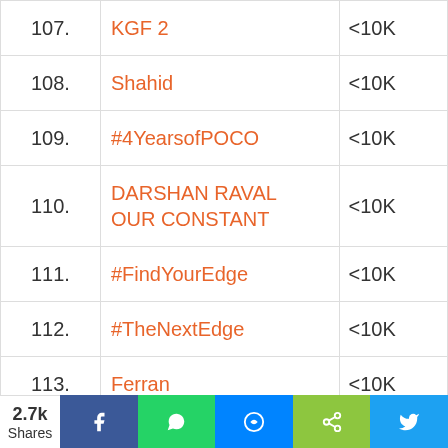| # | Trend | Volume |
| --- | --- | --- |
| 107. | KGF 2 | <10K |
| 108. | Shahid | <10K |
| 109. | #4YearsofPOCO | <10K |
| 110. | DARSHAN RAVAL OUR CONSTANT | <10K |
| 111. | #FindYourEdge | <10K |
| 112. | #TheNextEdge | <10K |
| 113. | Ferran | <10K |
| 114. | Prannoy | <10K |
| 115. | Incomplete Without Sushant | <10K |
2.7k Shares | Facebook | WhatsApp | Messenger | Share | Twitter